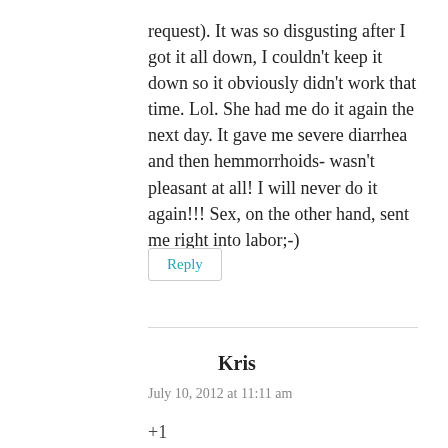request). It was so disgusting after I got it all down, I couldn't keep it down so it obviously didn't work that time. Lol. She had me do it again the next day. It gave me severe diarrhea and then hemmorrhoids- wasn't pleasant at all! I will never do it again!!! Sex, on the other hand, sent me right into labor;-)
Reply
Kris
July 10, 2012 at 11:11 am
+1